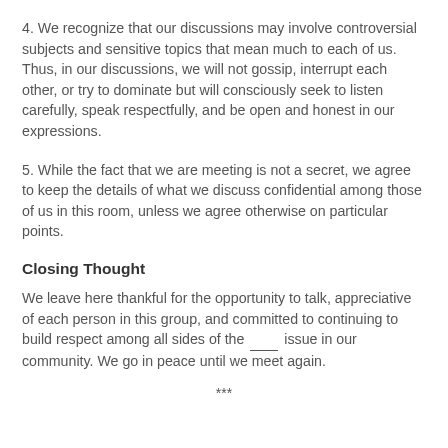4. We recognize that our discussions may involve controversial subjects and sensitive topics that mean much to each of us. Thus, in our discussions, we will not gossip, interrupt each other, or try to dominate but will consciously seek to listen carefully, speak respectfully, and be open and honest in our expressions.
5. While the fact that we are meeting is not a secret, we agree to keep the details of what we discuss confidential among those of us in this room, unless we agree otherwise on particular points.
Closing Thought
We leave here thankful for the opportunity to talk, appreciative of each person in this group, and committed to continuing to build respect among all sides of the ___ issue in our community. We go in peace until we meet again.
***